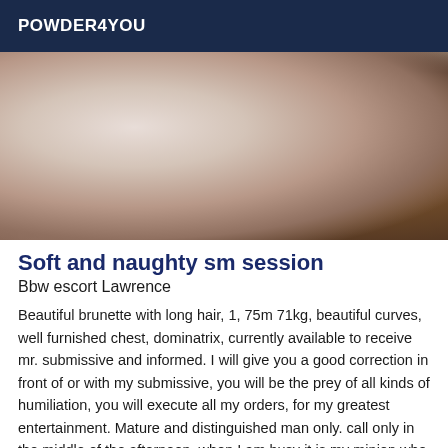POWDER4YOU
[Figure (photo): Close-up photo of a person lying on white bedding, partially visible torso and legs, wearing an anklet bracelet]
Soft and naughty sm session
Bbw escort Lawrence
Beautiful brunette with long hair, 1, 75m 71kg, beautiful curves, well furnished chest, dominatrix, currently available to receive mr. submissive and informed. I will give you a good correction in front of or with my submissive, you will be the prey of all kinds of humiliation, you will execute all my orders, for my greatest entertainment. Mature and distinguished man only. call only in the middle of the afternoon, when I am busy it is my minion who answers.